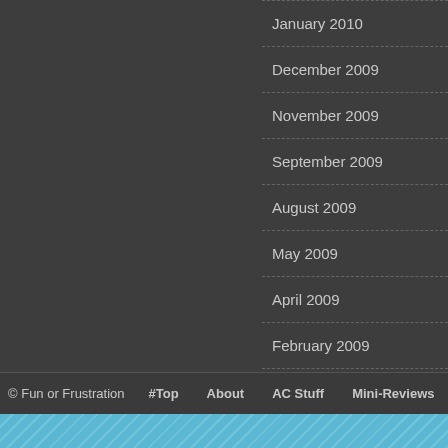January 2010
December 2009
November 2009
September 2009
August 2009
May 2009
April 2009
February 2009
January 2009
November 2008
September 2008
August 2008
© Fun or Frustration   #Top   About   AC Stuff   Mini-Reviews   Miscellany